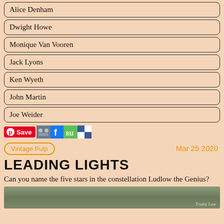Alice Denham
Dwight Howe
Monique Van Vooren
Jack Lyons
Ken Wyeth
John Martin
Joe Weider
Vintage Pulp    Mar 25 2020
LEADING LIGHTS
Can you name the five stars in the constellation Ludlow the Genius?
[Figure (photo): Bottom portion of an image, partially visible, appears to be a vintage or artistic photograph with muted green/grey tones]